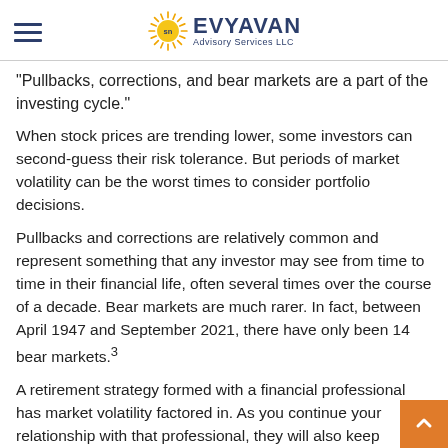EVYAVAN Advisory Services LLC
"Pullbacks, corrections, and bear markets are a part of the investing cycle."
When stock prices are trending lower, some investors can second-guess their risk tolerance. But periods of market volatility can be the worst times to consider portfolio decisions.
Pullbacks and corrections are relatively common and represent something that any investor may see from time to time in their financial life, often several times over the course of a decade. Bear markets are much rarer. In fact, between April 1947 and September 2021, there have only been 14 bear markets.3
A retirement strategy formed with a financial professional has market volatility factored in. As you continue your relationship with that professional, they will also keep...